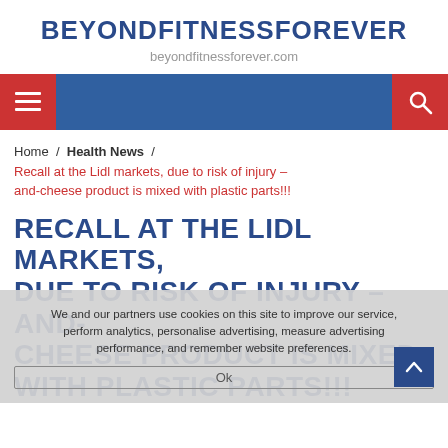BEYONDFITNESSFOREVER
beyondfitnessforever.com
Home / Health News / Recall at the Lidl markets, due to risk of injury – and-cheese product is mixed with plastic parts!!!
RECALL AT THE LIDL MARKETS, DUE TO RISK OF INJURY – AND-CHEESE PRODUCT IS MIXED WITH PLASTIC PARTS!!!
We and our partners use cookies on this site to improve our service, perform analytics, personalise advertising, measure advertising performance, and remember website preferences.
Ok